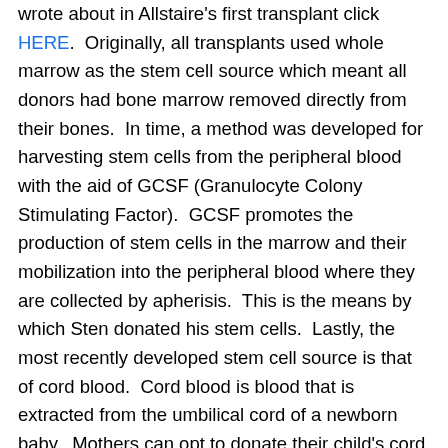wrote about in Allstaire's first transplant click HERE. Originally, all transplants used whole marrow as the stem cell source which meant all donors had bone marrow removed directly from their bones. In time, a method was developed for harvesting stem cells from the peripheral blood with the aid of GCSF (Granulocyte Colony Stimulating Factor). GCSF promotes the production of stem cells in the marrow and their mobilization into the peripheral blood where they are collected by apherisis. This is the means by which Sten donated his stem cells. Lastly, the most recently developed stem cell source is that of cord blood. Cord blood is blood that is extracted from the umbilical cord of a newborn baby. Mothers can opt to donate their child's cord blood which is then registered with the National Marrow Registry and banked, awaiting a person in need of a transplant. It should be noted that some cancer patients have their own stem cells